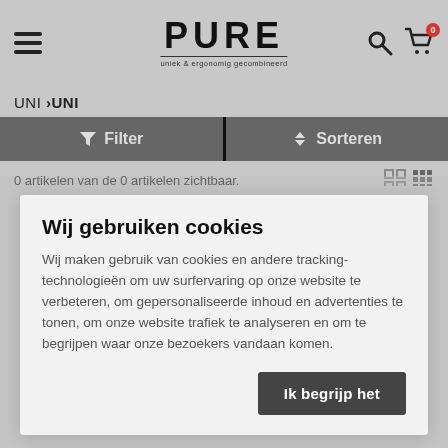PURE – uniek & ergonomig gecombineerd
UNI › UNI
Filter   Sorteren
0 artikelen van de 0 artikelen zichtbaar.
Wij gebruiken cookies
Wij maken gebruik van cookies en andere tracking-technologieën om uw surfervaring op onze website te verbeteren, om gepersonaliseerde inhoud en advertenties te tonen, om onze website trafiek te analyseren en om te begrijpen waar onze bezoekers vandaan komen.
Ik begrijp het